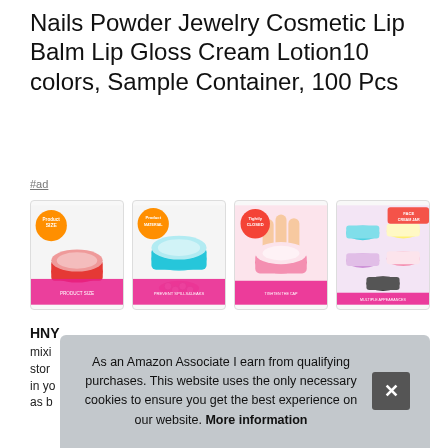Nails Powder Jewelry Cosmetic Lip Balm Lip Gloss Cream Lotion10 colors, Sample Container, 100 Pcs
#ad
[Figure (photo): Four product images showing small cosmetic sample containers with colorful lids]
HNY
mixi stor in yo as b
As an Amazon Associate I earn from qualifying purchases. This website uses the only necessary cookies to ensure you get the best experience on our website. More information